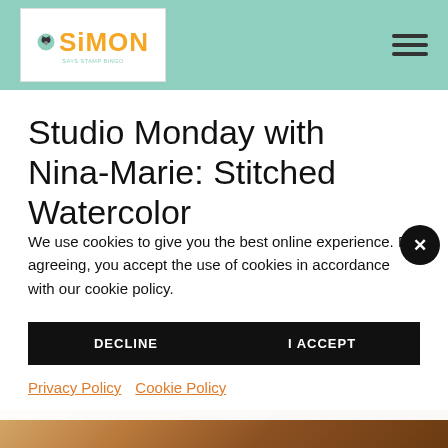Simon Says Stamp Blog — Navigation header with logo and hamburger menu
Studio Monday with Nina-Marie: Stitched Watercolor
We use cookies to give you the best online experience. By agreeing, you accept the use of cookies in accordance with our cookie policy.
DECLINE   I ACCEPT
Privacy Policy  Cookie Policy
[Figure (photo): Bottom strip showing a partial photo of craft/food items on a wooden surface]